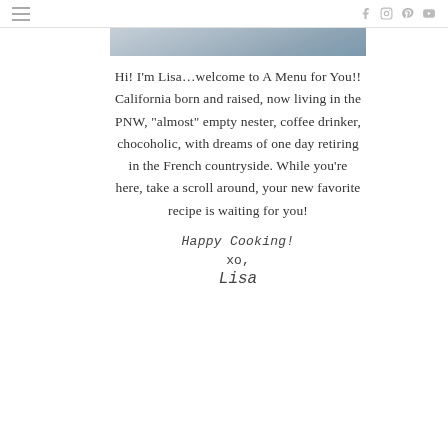≡  [hamburger menu] | [social icons: facebook, instagram, pinterest, youtube]
[Figure (photo): Partial photo of a person visible at the top of the content column]
Hi! I'm Lisa…welcome to A Menu for You!! California born and raised, now living in the PNW, "almost" empty nester, coffee drinker, chocoholic, with dreams of one day retiring in the French countryside. While you're here, take a scroll around, your new favorite recipe is waiting for you!
Happy Cooking!
xo,
Lisa